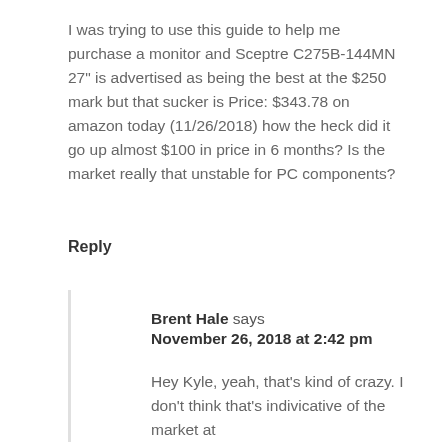I was trying to use this guide to help me purchase a monitor and Sceptre C275B-144MN 27" is advertised as being the best at the $250 mark but that sucker is Price: $343.78 on amazon today (11/26/2018) how the heck did it go up almost $100 in price in 6 months? Is the market really that unstable for PC components?
Reply
Brent Hale says
November 26, 2018 at 2:42 pm
Hey Kyle, yeah, that's kind of crazy. I don't think that's indivicative of the market at